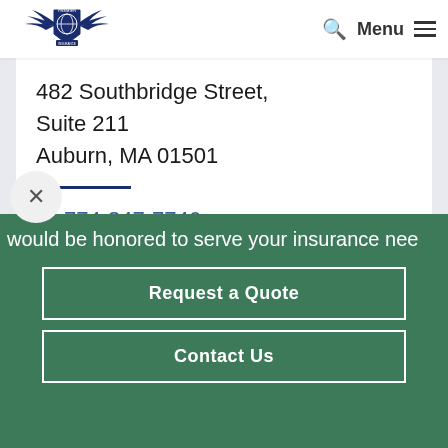[Figure (logo): Premier Insurance logo with eagle wings and globe shield emblem]
482 Southbridge Street, Suite 211
Auburn, MA 01501
774-847-7746
Email Us
would be honored to serve your insurance nee
Request a Quote
Contact Us